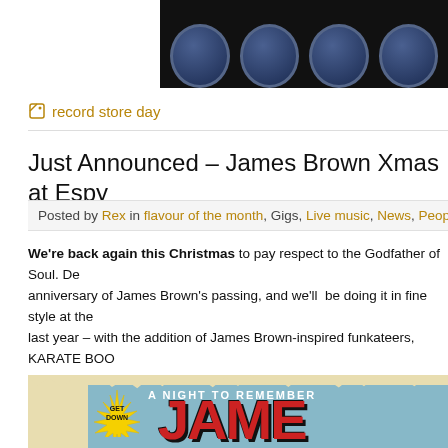[Figure (photo): Top banner image with dark background showing record/album artwork elements]
record store day
Just Announced – James Brown Xmas at Espy
Posted by Rex in flavour of the month, Gigs, Live music, News, People on De
We're back again this Christmas to pay respect to the Godfather of Soul. Dec anniversary of James Brown's passing, and we'll be doing it in fine style at the last year – with the addition of James Brown-inspired funkateers, KARATE BOO Cactus Channel). Plus, get on the goodfoot with all your favourite funky DJs – C Rampage, Johnny Crates and friends.
[Figure (photo): Event poster for James Brown night showing 'GET DOWN', 'A NIGHT TO REMEMBER' and 'JAMES' text on a light blue retro-style poster with torn paper edge effect]